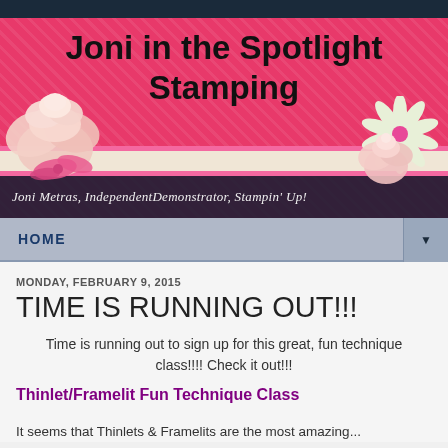[Figure (illustration): Blog header banner for 'Joni in the Spotlight Stamping' — pink floral patterned background with large title text, decorative paper flowers, horizontal ribbon stripes, and subtitle 'Joni Metras, IndependentDemonstrator, Stampin' Up!']
HOME
MONDAY, FEBRUARY 9, 2015
TIME IS RUNNING OUT!!!
Time is running out to sign up for this great, fun technique class!!!! Check it out!!!
Thinlet/Framelit Fun Technique Class
It seems that Thinlets & Framelits are the most amazing...